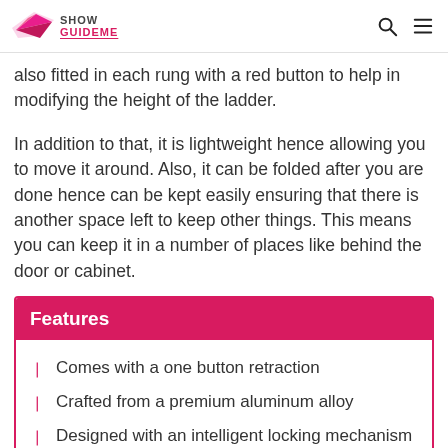Show GuideMe
also fitted in each rung with a red button to help in modifying the height of the ladder.
In addition to that, it is lightweight hence allowing you to move it around. Also, it can be folded after you are done hence can be kept easily ensuring that there is another space left to keep other things. This means you can keep it in a number of places like behind the door or cabinet.
Features
Comes with a one button retraction
Crafted from a premium aluminum alloy
Designed with an intelligent locking mechanism